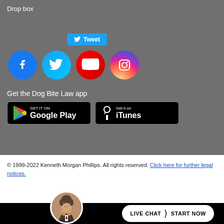Drop box
[Figure (infographic): Twitter Tweet button (blue rounded rectangle with bird icon and 'Tweet' text)]
[Figure (infographic): Social media icons: Facebook (blue circle with f), Twitter (cyan circle with bird), YouTube (red circle with play triangle), Instagram (gradient circle with camera)]
Get the Dog Bite Law app
[Figure (infographic): Google Play store badge: black rounded rectangle with 'GET IT ON Google Play' text and colorful play triangle icon]
[Figure (infographic): iTunes store badge: black rounded rectangle with 'Get it on iTunes' text and Apple logo]
© 1999-2022 Kenneth Morgan Phillips. All rights reserved. Click here for further legal notices.
[Figure (photo): Circular headshot photo of a man in a suit]
[Figure (infographic): LIVE CHAT > START NOW button in white pill shape on black bar]